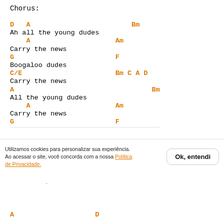Chorus:
D   A                              Bm
Ah all the young dudes
    A                          Am
Carry the news
G                              F
Boogaloo dudes
C/E                            Bm C A D
Carry the news
A                                     Bm
All the young dudes
    A                          Am
Carry the news
G                              F
Utilizamos cookies para personalizar sua experiência. Ao acessar o site, você concorda com a nossa Política de Privacidade.
A                    D